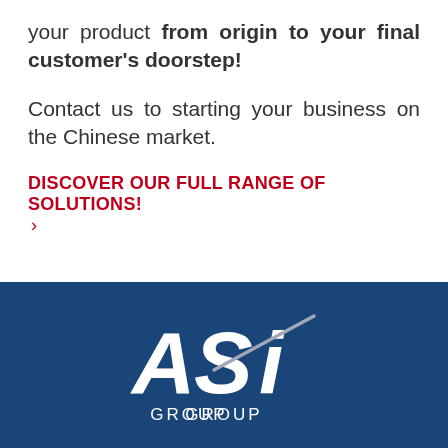your product from origin to your final customer's doorstep!
Contact us to starting your business on the Chinese market.
DISCOVER OUR FULL RANGE OF SOLUTIONS! ›
[Figure (logo): ASi Group logo — white letters 'ASi' with a diagonal slash/swoosh through the i, and 'GROUP' text below, on a dark navy blue background]